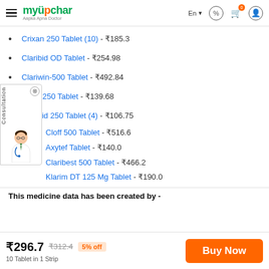myUpchar - Aapka Apna Doctor
Crixan 250 Tablet (10) - ₹185.3
Claribid OD Tablet - ₹254.98
Clariwin-500 Tablet - ₹492.84
Clear 250 Tablet - ₹139.68
Claribid 250 Tablet (4) - ₹106.75
Cloff 500 Tablet - ₹516.6
Axytef Tablet - ₹140.0
Claribest 500 Tablet - ₹466.2
Klarim DT 125 Mg Tablet - ₹190.0
This medicine data has been created by -
₹296.7 ₹312.4 5% off — Buy Now — 10 Tablet in 1 Strip